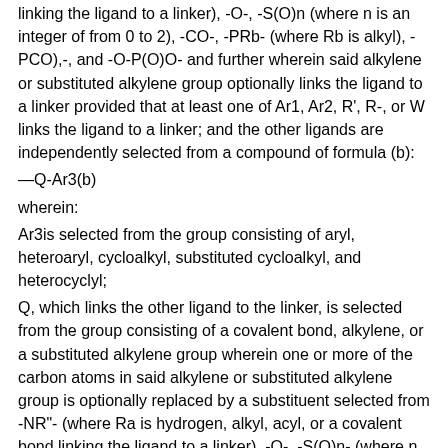linking the ligand to a linker), -O-, -S(O)n (where n is an integer of from 0 to 2), -CO-, -PRb- (where Rb is alkyl), -PCO),-, and -O-P(O)O- and further wherein said alkylene or substituted alkylene group optionally links the ligand to a linker provided that at least one of Ar1, Ar2, R', R-, or W links the ligand to a linker; and the other ligands are independently selected from a compound of formula (b):
—Q-Ar3(b)
wherein:
Ar3is selected from the group consisting of aryl, heteroaryl, cycloalkyl, substituted cycloalkyl, and heterocyclyl;
Q, which links the other ligand to the linker, is selected from the group consisting of a covalent bond, alkylene, or a substituted alkylene group wherein one or more of the carbon atoms in said alkylene or substituted alkylene group is optionally replaced by a substituent selected from -NR"- (where Ra is hydrogen, alkyl, acyl, or a covalent bond linking the ligand to a linker), -O-, -S(O)n- (where n is an integer of from 0 to 2), -CO-, -PR'- (where R'b is